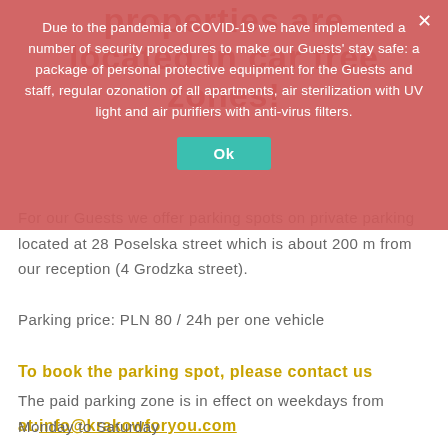properties are located in car free zones!
For our Guests we offer parking spots on private parking located at 28 Poselska street which is about 200 m from our reception (4 Grodzka street).
Parking price: PLN 80 / 24h per one vehicle
To book the parking spot, please contact us
at:info@krakowforyou.com
Due to the pandemia of COVID-19 we have implemented a number of security procedures to make our Guests' stay safe: a package of personal protective equipment for the Guests and staff, regular ozonation of all apartments, air sterilization with UV light and air purifiers with anti-virus filters.
The paid parking zone is in effect on weekdays from Monday to Saturday